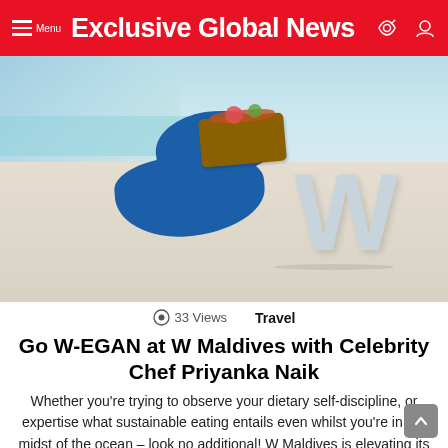Menu  Exclusive Global News
[Figure (photo): Beach scene at W Maldives: person relaxing on blue beanbag chairs on white sand beach with a wooden tray table, large W letter sculpture in background, ocean water visible]
33 Views   Travel
Go W-EGAN at W Maldives with Celebrity Chef Priyanka Naik
Whether you're trying to observe your dietary self-discipline, or expertise what sustainable eating entails even whilst you're in the midst of the ocean – look no additional! W Maldives is elevating its culinary choices by welcoming celeb vegan chef & sustainable